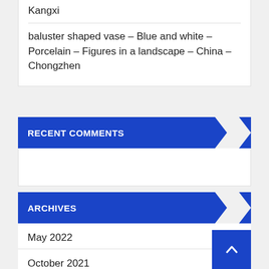Kangxi
baluster shaped vase – Blue and white – Porcelain – Figures in a landscape – China – Chongzhen
RECENT COMMENTS
ARCHIVES
May 2022
October 2021
September 2021